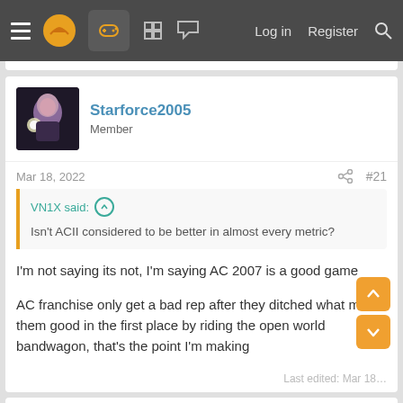Navigation bar with hamburger menu, logo, game controller icon, grid icon, chat icon, Log in, Register, Search
Starforce2005
Member
Mar 18, 2022  #21
VN1X said: ↑
Isn't ACII considered to be better in almost every metric?
I'm not saying its not, I'm saying AC 2007 is a good game

AC franchise only get a bad rep after they ditched what made them good in the first place by riding the open world bandwagon, that's the point I'm making
Last edited: Mar 18, 2022
Tg89